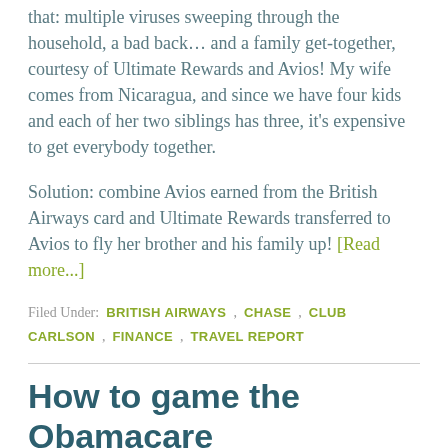that: multiple viruses sweeping through the household, a bad back… and a family get-together, courtesy of Ultimate Rewards and Avios! My wife comes from Nicaragua, and since we have four kids and each of her two siblings has three, it's expensive to get everybody together.
Solution: combine Avios earned from the British Airways card and Ultimate Rewards transferred to Avios to fly her brother and his family up! [Read more...]
Filed Under: BRITISH AIRWAYS , CHASE , CLUB CARLSON , FINANCE , TRAVEL REPORT
How to game the Obamacare